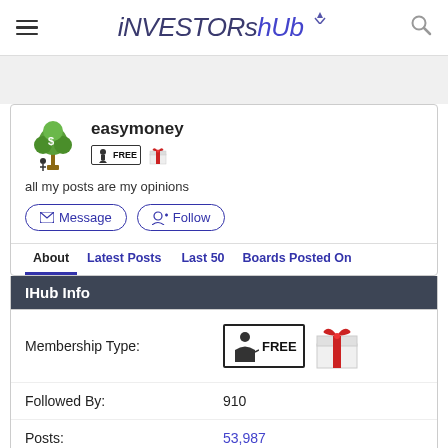iNVESTORShub
easymoney
all my posts are my opinions
Message  Follow
About  Latest Posts  Last 50  Boards Posted On
IHub Info
| Field | Value |
| --- | --- |
| Membership Type: | FREE (with gift) |
| Followed By: | 910 |
| Posts: | 53,987 |